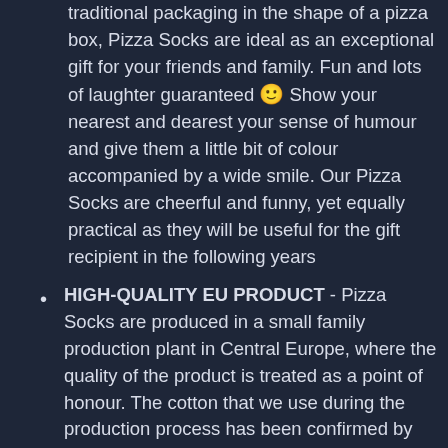traditional packaging in the shape of a pizza box, Pizza Socks are ideal as an exceptional gift for your friends and family. Fun and lots of laughter guaranteed 🙂 Show your nearest and dearest your sense of humour and give them a little bit of colour accompanied by a wide smile. Our Pizza Socks are cheerful and funny, yet equally practical as they will be useful for the gift recipient in the following years
HIGH-QUALITY EU PRODUCT - Pizza Socks are produced in a small family production plant in Central Europe, where the quality of the product is treated as a point of honour. The cotton that we use during the production process has been confirmed by OEKO-TEX certificate which is an international symbol of the best quality of textile products.
MULTIPLE TYPES - We offer a wide selection of "tastes" and sizes. We offer 4-pack Pizza Socks in various Pizza Sock sizes...